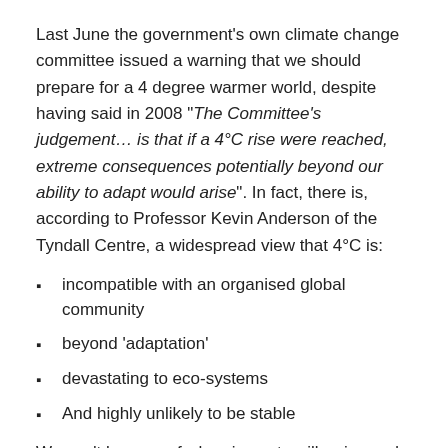Last June the government's own climate change committee issued a warning that we should prepare for a 4 degree warmer world, despite having said in 2008 "The Committee's judgement… is that if a 4°C rise were reached, extreme consequences potentially beyond our ability to adapt would arise". In fact, there is, according to Professor Kevin Anderson of the Tyndall Centre, a widespread view that 4°C is:
incompatible with an organised global community
beyond 'adaptation'
devastating to eco-systems
And highly unlikely to be stable
We can't be sure of when impacts will arrive and and how deep they will be, because the climate science community is still figuring out climate sensitivity effects. But Sir David